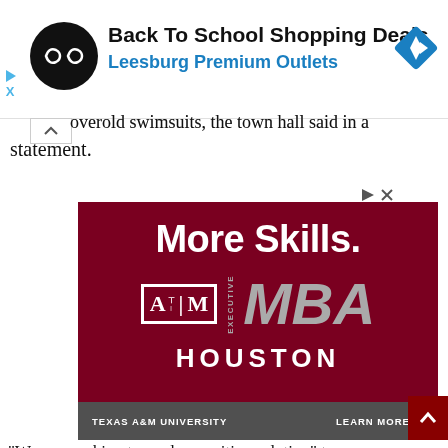[Figure (screenshot): Top banner ad: Back To School Shopping Deals - Leesburg Premium Outlets with circular logo and blue diamond icon]
overold swimsuits, the town hall said in a statement.
[Figure (screenshot): Texas A&M University Executive MBA Houston advertisement with dark red background showing 'More Skills.' text and TAMU logo]
“We are working towards a positive solution” to